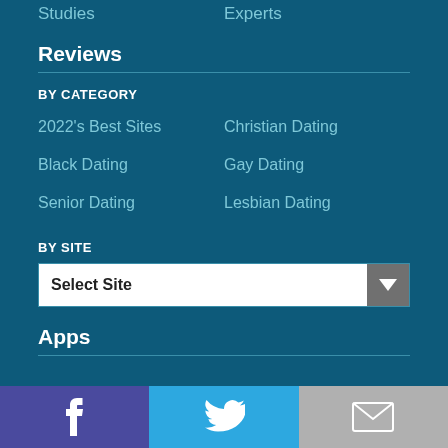Studies   Experts
Reviews
BY CATEGORY
2022's Best Sites
Christian Dating
Black Dating
Gay Dating
Senior Dating
Lesbian Dating
BY SITE
Select Site
Apps
Facebook  Twitter  Email